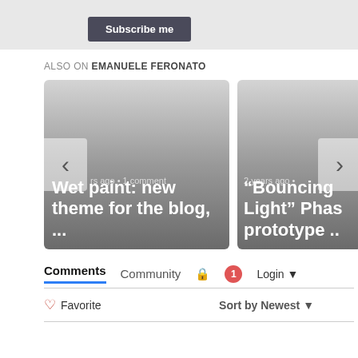[Figure (screenshot): Subscribe me button on grey background]
ALSO ON EMANUELE FERONATO
[Figure (screenshot): Card: Wet paint: new theme for the blog, ... — years ago • 1 comment]
[Figure (screenshot): Card: "Bouncing Light" Phas prototype .. — 2 years ago •]
Comments  Community  🔒  1  Login ▾
♡ Favorite    Sort by Newest ▾